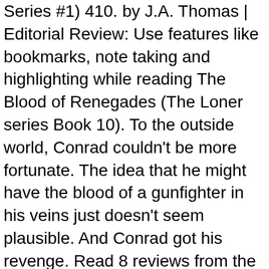Series #1) 410. by J.A. Thomas | Editorial Review: Use features like bookmarks, note taking and highlighting while reading The Blood of Renegades (The Loner series Book 10). To the outside world, Conrad couldn't be more fortunate. The idea that he might have the blood of a gunfighter in his veins just doesn't seem plausible. And Conrad got his revenge. Read 8 reviews from the world's largest community for r… Each month I pick a charity and ask that you support them instead. Johnstone. Conrad Browning is a successful young businessman, but what people don't know about him is he is the son of Frank Morgan, a legendary gunfighter. Book 4. Achetez et téléchargez ebook The Big Gundown (Merch/Levy) (The Loner series Book 4) (English Edition): Boutique Kindle - Westerns : Amazon.fr Johnstone's efforts on his uncle's behalf, they were less resistant when he began to publish his own original works. But then his wife was taken from him. Conrad will stop at nothing to settle the debt that his enemies accrued, regardless of the blood he must shed. Conrad Browning's father is Frank Morgan, a legendary gunfighter. Inferno (The Loner series Book 10): Kindle edition by Johnstone, J.A.